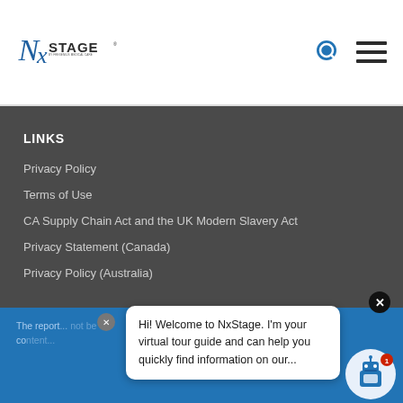NxStage logo and navigation header
LINKS
Privacy Policy
Terms of Use
CA Supply Chain Act and the UK Modern Slavery Act
Privacy Statement (Canada)
Privacy Policy (Australia)
The report... not be co...
Hi! Welcome to NxStage. I'm your virtual tour guide and can help you quickly find information on our...